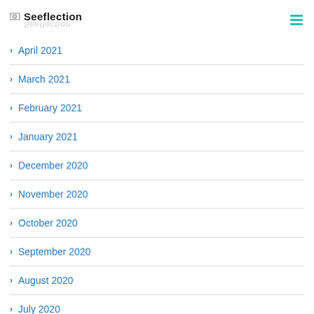Seeflection
April 2021
March 2021
February 2021
January 2021
December 2020
November 2020
October 2020
September 2020
August 2020
July 2020